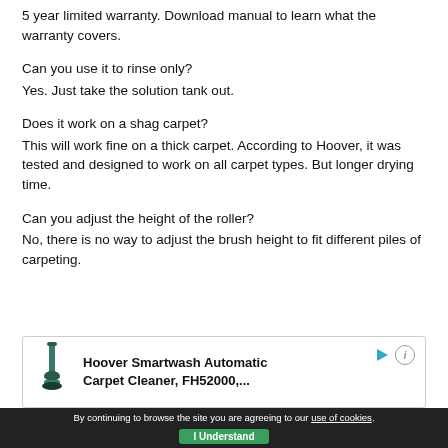5 year limited warranty. Download manual to learn what the warranty covers.
Can you use it to rinse only?
Yes. Just take the solution tank out.
Does it work on a shag carpet?
This will work fine on a thick carpet. According to Hoover, it was tested and designed to work on all carpet types. But longer drying time.
Can you adjust the height of the roller?
No, there is no way to adjust the brush height to fit different piles of carpeting.
[Figure (other): Advertisement for Hoover Smartwash Automatic Carpet Cleaner, FH52000 with product image and play/info controls]
By continuing to browse the site you are agreeing to our use of cookies. I Understand